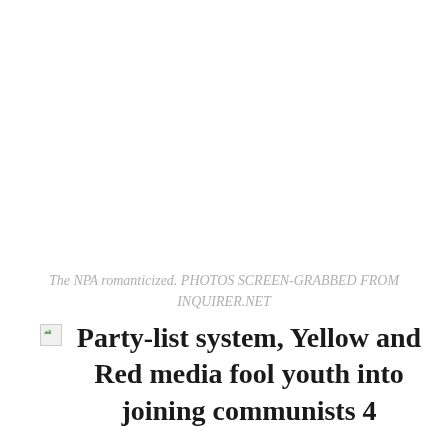The NPA romanticized. PHOTOS SCREEN-GRABBED FROM INQUIRER.NET
Party-list system, Yellow and Red media fool youth into joining communists 4